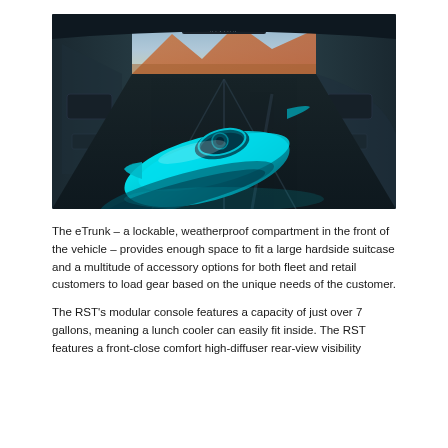[Figure (photo): Interior view of an electric truck bed (Rivian RST) with a bright teal/cyan kayak loaded inside. The truck bed shows dark metallic walls with a futuristic design, green lights at the top, and a desert mountain landscape visible in the background.]
The eTrunk – a lockable, weatherproof compartment in the front of the vehicle – provides enough space to fit a large hardside suitcase and a multitude of accessory options for both fleet and retail customers to load gear based on the unique needs of the customer.
The RST's modular console features a capacity of just over 7 gallons, meaning a lunch cooler can easily fit inside. The RST features a front-close comfort high-diffuser rear-view visibility…